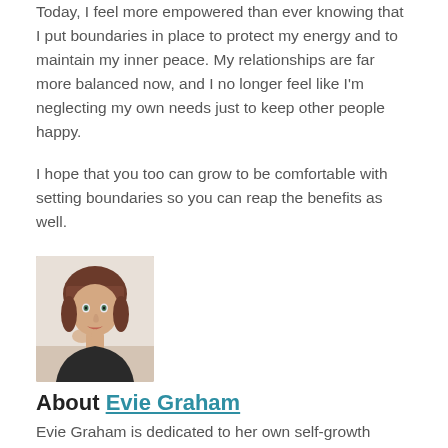Today, I feel more empowered than ever knowing that I put boundaries in place to protect my energy and to maintain my inner peace. My relationships are far more balanced now, and I no longer feel like I'm neglecting my own needs just to keep other people happy.
I hope that you too can grow to be comfortable with setting boundaries so you can reap the benefits as well.
[Figure (photo): Portrait photo of Evie Graham, a young woman with bangs and brown hair, looking at the camera.]
About Evie Graham
Evie Graham is dedicated to her own self-growth journey and loves using her words to inspire. Practicing both visual arts and written art, she's dedicated to connecting with